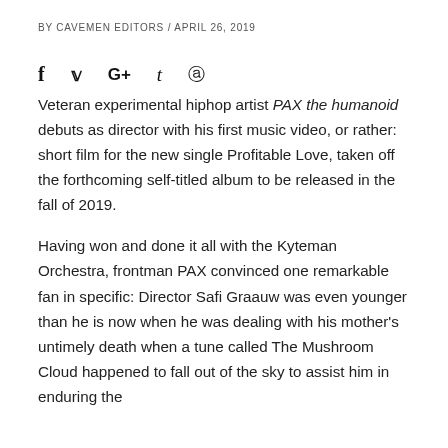BY CAVEMEN EDITORS / APRIL 26, 2019
[Figure (other): Social media sharing icons: Facebook (f), Twitter (bird/y), Google+ (G+), Tumblr (t), Pinterest (p)]
Veteran experimental hiphop artist PAX the humanoid debuts as director with his first music video, or rather: short film for the new single Profitable Love, taken off the forthcoming self-titled album to be released in the fall of 2019.
Having won and done it all with the Kyteman Orchestra, frontman PAX convinced one remarkable fan in specific: Director Safi Graauw was even younger than he is now when he was dealing with his mother's untimely death when a tune called The Mushroom Cloud happened to fall out of the sky to assist him in enduring the